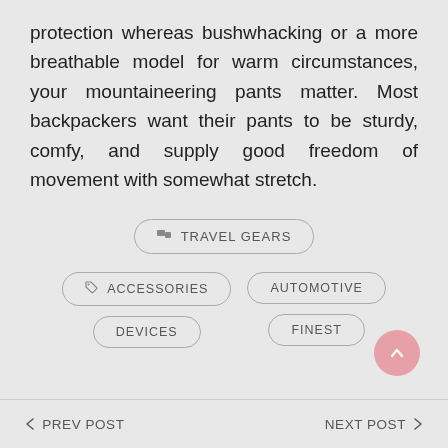protection whereas bushwhacking or a more breathable model for warm circumstances, your mountaineering pants matter. Most backpackers want their pants to be sturdy, comfy, and supply good freedom of movement with somewhat stretch.
TRAVEL GEARS
ACCESSORIES
AUTOMOTIVE
DEVICES
FINEST
< PREV POST    NEXT POST >